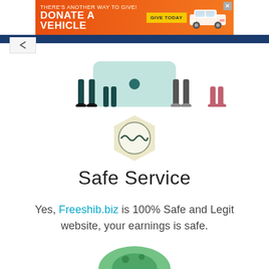[Figure (other): Orange advertisement banner: THERE'S ANOTHER WAY TO GIVE! DONATE A VEHICLE — GIVE TODAY button with car illustration and X close button]
[Figure (illustration): Partial illustration showing legs of people and a teal device/tablet at the top of the webpage content area, with a dark blue navigation bar and a back chevron button]
[Figure (other): Hexagonal shield icon with a wavy line inside, in muted green/gold tones, representing safety or security]
Safe Service
Yes, Freeshib.biz is 100% Safe and Legit website, your earnings is safe.
[Figure (illustration): Partial green illustration at bottom of page, partially cut off]